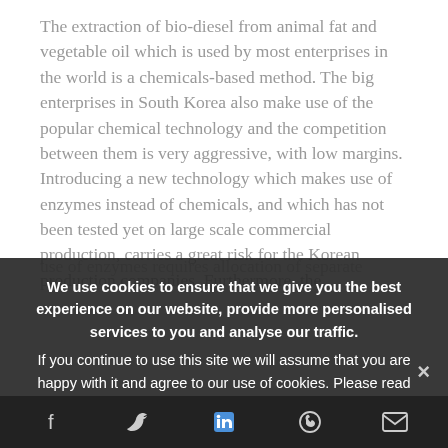The extraction of bio-diesel from animal fat and vegetable oil which is used by most enterprises in the world is a chemicals-based method. The big enterprises in South Korea also make use of the popular chemical technology and the competition between them is very aggressive, with low margins. Introducing a new technology which makes use of enzymes instead of chemicals, and which has not been tested yet on large scale commercial production, carries a great risk for the Korean production companies. Furthermore, the use of enzymes requires allocation of separate
We use cookies to ensure that we give you the best experience on our website, provide more personalised services to you and analyse our traffic. If you continue to use this site we will assume that you are happy with it and agree to our use of cookies. Please read our Privacy Policy to find out more information about our use of cookies.
PROSPECTS IDENTIFICATION
Social share bar: Facebook, Twitter, LinkedIn, WhatsApp, Email